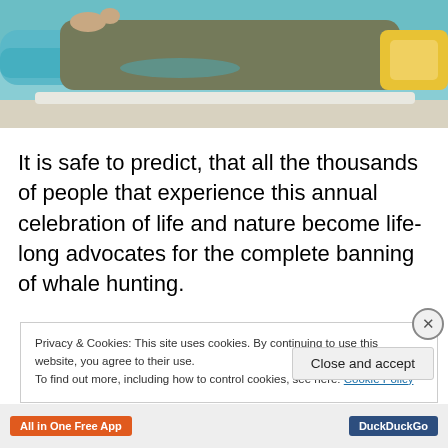[Figure (photo): Partial view of a person lying down near a blue pool or waterslide, wearing khaki/olive trousers, bare feet visible, with a yellow object to the right.]
It is safe to predict, that all the thousands of people that experience this annual celebration of life and nature become life-long advocates for the complete banning of whale hunting.
Privacy & Cookies: This site uses cookies. By continuing to use this website, you agree to their use.
To find out more, including how to control cookies, see here: Cookie Policy
Close and accept
All in One Free App
DuckDuckGo